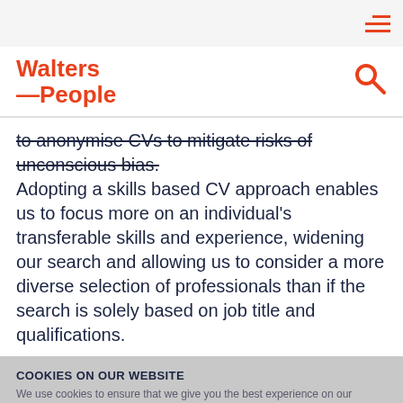Walters —People
to anonymise CVs to mitigate risks of unconscious bias. Adopting a skills based CV approach enables us to focus more on an individual's transferable skills and experience, widening our search and allowing us to consider a more diverse selection of professionals than if the search is solely based on job title and qualifications.
COOKIES ON OUR WEBSITE
We use cookies to ensure that we give you the best experience on our website. If you continue without changing your settings, we'll assume that you are happy to receive all cookies on the Walters People website. However, if you would like to, you can change your cookie settings at any time. To find out more, please view our cookie policy